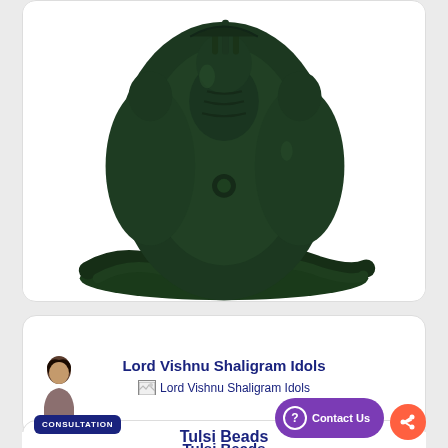[Figure (photo): Dark green carved statue/idol of Hindu deity group (appears to be Vishnu with Lakshmi and serpent), placed on a white background inside a rounded card.]
Lord Vishnu Shaligram Idols
[Figure (photo): Broken image placeholder with text 'Lord Vishnu Shaligram Idols']
Tulsi Beads
[Figure (photo): Close-up photo of Tulsi beads mala/rosary — cream/beige and red round beads strung together, on a light background.]
CONSULTATION
Contact Us